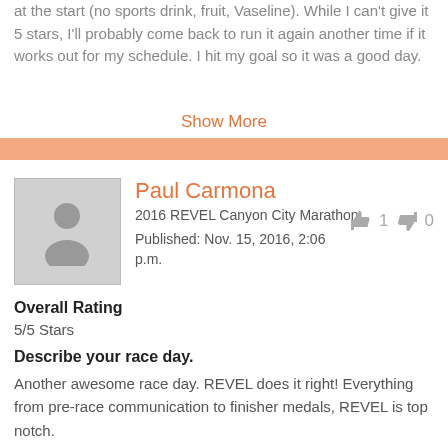at the start (no sports drink, fruit, Vaseline). While I can't give it 5 stars, I'll probably come back to run it again another time if it works out for my schedule. I hit my goal so it was a good day.
Show More
Paul Carmona
2016 REVEL Canyon City Marathon
Published: Nov. 15, 2016, 2:06 p.m.
Overall Rating
5/5 Stars
Describe your race day.
Another awesome race day. REVEL does it right! Everything from pre-race communication to finisher medals, REVEL is top notch.